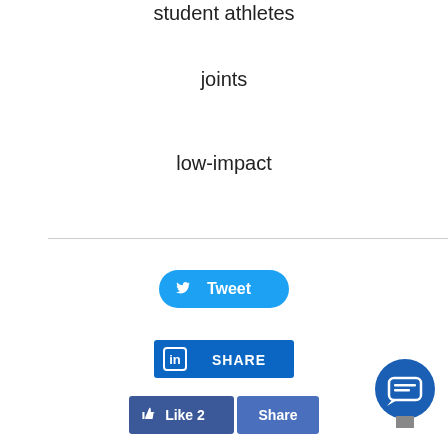student athletes
joints
low-impact
[Figure (screenshot): Twitter Tweet button with bird icon]
[Figure (screenshot): LinkedIn Share button with LinkedIn icon]
[Figure (screenshot): Facebook Like (2) and Share buttons]
[Figure (other): Chat bubble icon button in bottom right corner]